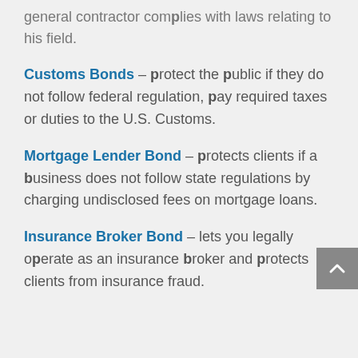general contractor complies with laws relating to his field.
Customs Bonds – protect the public if they do not follow federal regulation, pay required taxes or duties to the U.S. Customs.
Mortgage Lender Bond – protects clients if a business does not follow state regulations by charging undisclosed fees on mortgage loans.
Insurance Broker Bond – lets you legally operate as an insurance broker and protects clients from insurance fraud.